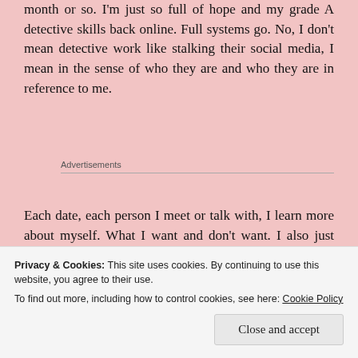month or so. I'm just so full of hope and my grade A detective skills back online. Full systems go. No, I don't mean detective work like stalking their social media, I mean in the sense of who they are and who they are in reference to me.
Advertisements
Each date, each person I meet or talk with, I learn more about myself. What I want and don't want. I also just love meeting new people. I am the type on
Privacy & Cookies: This site uses cookies. By continuing to use this website, you agree to their use.
To find out more, including how to control cookies, see here: Cookie Policy
Close and accept